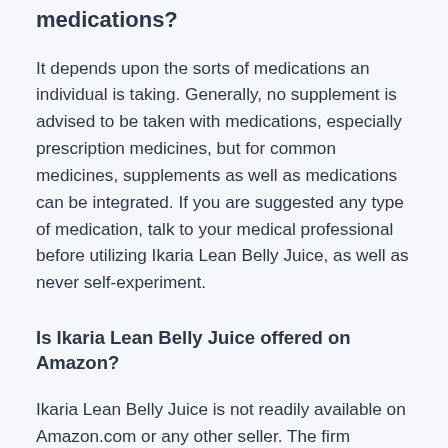medications?
It depends upon the sorts of medications an individual is taking. Generally, no supplement is advised to be taken with medications, especially prescription medicines, but for common medicines, supplements as well as medications can be integrated. If you are suggested any type of medication, talk to your medical professional before utilizing Ikaria Lean Belly Juice, as well as never self-experiment.
Is Ikaria Lean Belly Juice offered on Amazon?
Ikaria Lean Belly Juice is not readily available on Amazon.com or any other seller. The firm suggests getting this product with the official website just